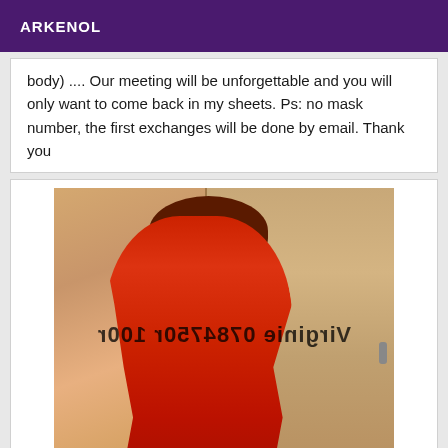ARKENOL
body) .... Our meeting will be unforgettable and you will only want to come back in my sheets. Ps: no mask number, the first exchanges will be done by email. Thank you
[Figure (photo): Photo of a person in red outfit standing in front of a door, shown from behind. Mirrored watermark text reads 'Virginie 0784750r 100r'.]